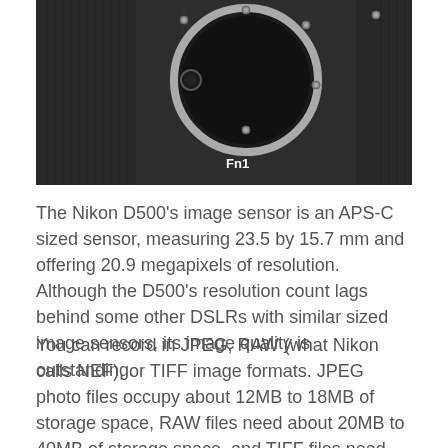[Figure (photo): Close-up photo of a Nikon D500 camera body showing the lens mount (silver ring), camera grip texture, and a button labeled 'Fn1' at the bottom center of the image.]
The Nikon D500's image sensor is an APS-C sized sensor, measuring 23.5 by 15.7 mm and offering 20.9 megapixels of resolution. Although the D500's resolution count lags behind some other DSLRs with similar sized image sensors, its image quality is outstanding.
You can record in JPEG, RAW (what Nikon calls NEF), or TIFF image formats. JPEG photo files occupy about 12MB to 18MB of storage space, RAW files need about 20MB to 40MB of storage space, and TIFF files need about 40MB to 70MB. With this model you can record RAW and JPEG images with one press of the shutter button. You'll have to shoot TIFF images alone though.
The D500 makes use of Nikon F-mount lenses. To the